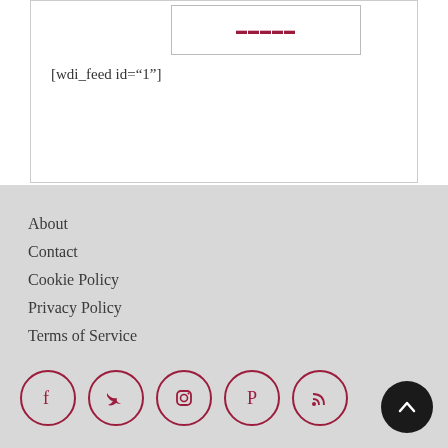[wdi_feed id="1"]
About
Contact
Cookie Policy
Privacy Policy
Terms of Service
[Figure (other): Social media icons: Facebook, Twitter, Instagram, Pinterest, RSS — all in crimson circle outlines; plus a black circle back-to-top arrow button at bottom right]